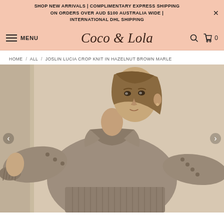SHOP NEW ARRIVALS | COMPLIMENTARY EXPRESS SHIPPING ON ORDERS OVER AUD $100 AUSTRALIA WIDE | INTERNATIONAL DHL SHIPPING
[Figure (screenshot): Coco & Lola brand logo in cursive script centered in the salmon/peach navigation bar]
HOME / ALL / JOSLIN LUCIA CROP KNIT IN HAZELNUT BROWN MARLE
[Figure (photo): A female model wearing a hazelnut brown marle crop knit sweater with collar and button details along the sleeves, standing against a textured white/cream wall.]